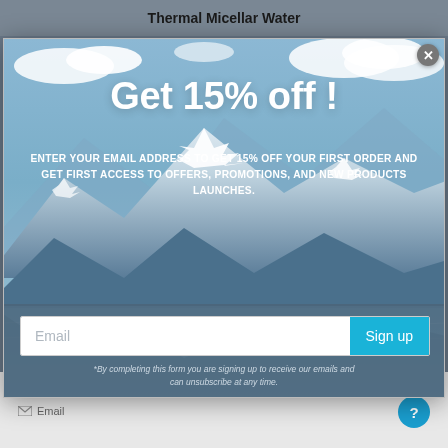Thermal Micellar Water
[Figure (screenshot): Modal popup over a website page showing a mountain lake landscape background. The modal contains a promotional offer for 15% off with an email signup form.]
Get 15% off !
ENTER YOUR EMAIL ADDRESS TO GET 15% OFF YOUR FIRST ORDER AND GET FIRST ACCESS TO OFFERS, PROMOTIONS, AND NEW PRODUCTS LAUNCHES.
Email
Sign up
*By completing this form you are signing up to receive our emails and can unsubscribe at any time.
CONTACT
Email